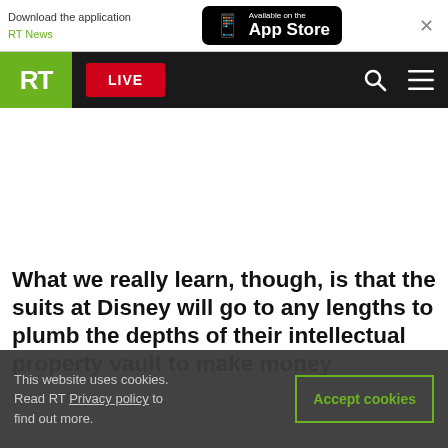Download the application RT News — Available on the App Store
[Figure (screenshot): RT News website navigation bar with RT logo, LIVE button, search icon, and hamburger menu on black background]
What we really learn, though, is that the suits at Disney will go to any lengths to plumb the depths of their intellectual property vault to make money
This website uses cookies. Read RT Privacy policy to find out more.
Accept cookies